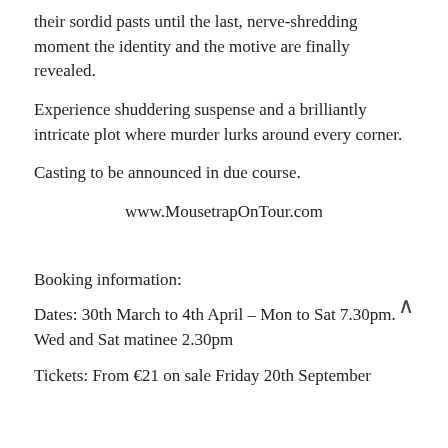their sordid pasts until the last, nerve-shredding moment the identity and the motive are finally revealed.
Experience shuddering suspense and a brilliantly intricate plot where murder lurks around every corner.
Casting to be announced in due course.
www.MousetrapOnTour.com
Booking information:
Dates: 30th March to 4th April – Mon to Sat 7.30pm. Wed and Sat matinee 2.30pm
Tickets: From €21 on sale Friday 20th September